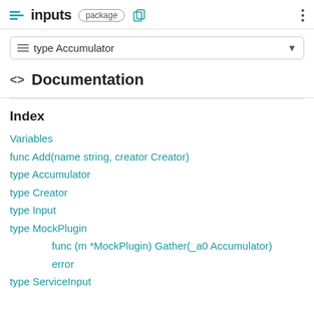inputs package
type Accumulator
Documentation
Index
Variables
func Add(name string, creator Creator)
type Accumulator
type Creator
type Input
type MockPlugin
func (m *MockPlugin) Gather(_a0 Accumulator)
error
type ServiceInput